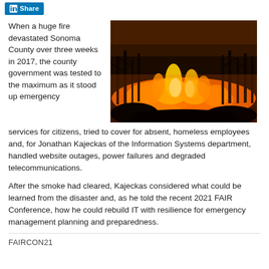[Figure (logo): LinkedIn Share button with blue background and 'Share' text]
When a huge fire devastated Sonoma County over three weeks in 2017, the county government was tested to the maximum as it stood up emergency services for citizens, tried to cover for absent, homeless employees and, for Jonathan Kajeckas of the Information Systems department, handled website outages, power failures and degraded telecommunications.
[Figure (photo): Wildfire burning through trees and brush at night, with intense orange and red flames visible against dark silhouetted vegetation]
After the smoke had cleared, Kajeckas considered what could be learned from the disaster and, as he told the recent 2021 FAIR Conference, how he could rebuild IT with resilience for emergency management planning and preparedness.
FAIRCON21